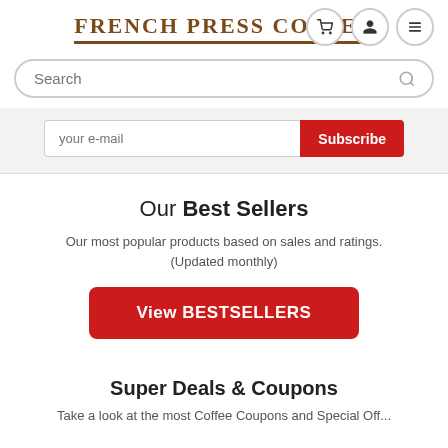FRENCH PRESS COFFEE
Search
your e-mail | Subscribe
Our Best Sellers
Our most popular products based on sales and ratings. (Updated monthly)
View BESTSELLERS
Super Deals & Coupons
Take a look at the most Coffee Coupons and Special Off...